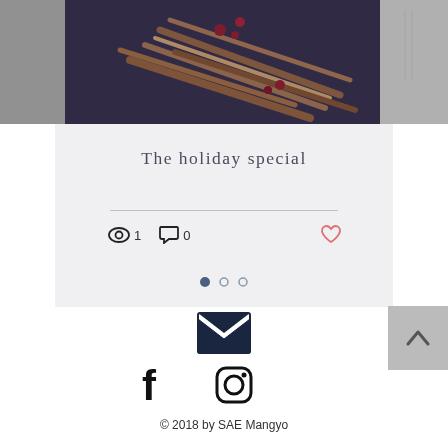[Figure (photo): Top banner showing three image panels: dark left panel, center image of cinnamon sticks and red berries on dark purple background, right panel partially showing a fork.]
The holiday special
[Figure (infographic): Post stats row: eye/views icon with count 1, comment bubble icon with count 0, and a heart/like icon in salmon color]
[Figure (infographic): Pagination dots: three dots, first filled dark, second and third outlined]
[Figure (infographic): Email envelope icon (dark navy/black) centered in footer area]
[Figure (infographic): Social media icons: Facebook (f) and Instagram camera logo, both in black]
[Figure (infographic): Back to top button: grey square with upward chevron arrow]
© 2018 by SAE Mangyo